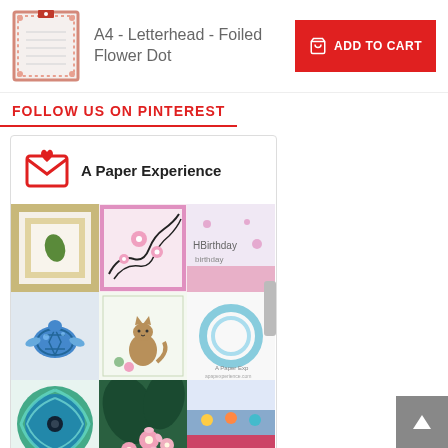[Figure (photo): Product thumbnail: A4 Letterhead Foiled Flower Dot stationery with pink/red border]
A4 - Letterhead - Foiled Flower Dot
[Figure (other): Red Add to Cart button with shopping bag icon]
FOLLOW US ON PINTEREST
[Figure (other): Pinterest widget card for 'A Paper Experience' showing a grid of crafting/stationery photos including cards, a sea turtle brooch, flowers, and decorative items]